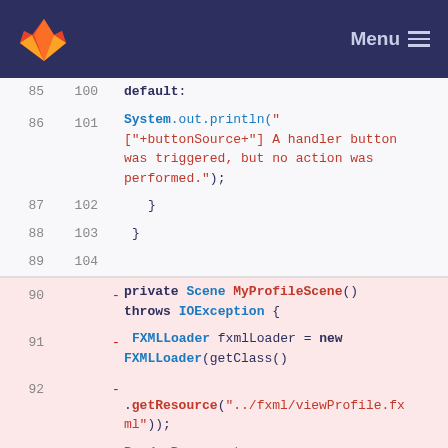GitLab — Menu
85  100      default:
86  101          System.out.println("["+buttonSource+"] A handler button was triggered, but no action was performed.");
87  102          }
88  103      }
89  104
90  -    private Scene MyProfileScene() throws IOException {
91  -        FXMLLoader fxmlLoader = new FXMLLoader(getClass()
92  -        .getResource("../fxml/viewProfile.fxml"));
93  -        BorderPane root = (BorderPane) fxmlLoader.load();
94  -
95  -        return setNewScene(fxmlLoader, root);